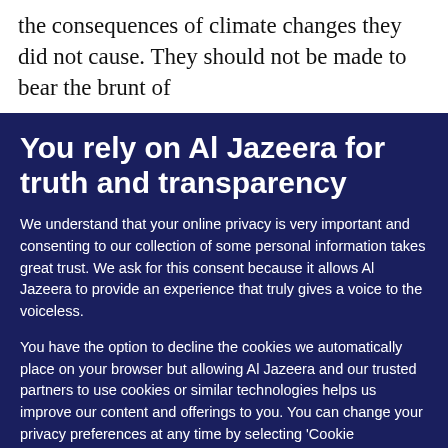the consequences of climate changes they did not cause. They should not be made to bear the brunt of
You rely on Al Jazeera for truth and transparency
We understand that your online privacy is very important and consenting to our collection of some personal information takes great trust. We ask for this consent because it allows Al Jazeera to provide an experience that truly gives a voice to the voiceless.
You have the option to decline the cookies we automatically place on your browser but allowing Al Jazeera and our trusted partners to use cookies or similar technologies helps us improve our content and offerings to you. You can change your privacy preferences at any time by selecting 'Cookie preferences' at the bottom of your screen. To learn more, please view our Cookie Policy.